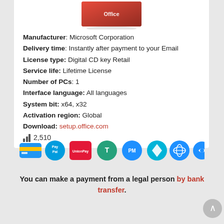[Figure (photo): Product box image of Microsoft Office, red box on white background]
Manufacturer: Microsoft Corporation
Delivery time: Instantly after payment to your Email
License type: Digital CD key Retail
Service life: Lifetime License
Number of PCs: 1
Interface language: All languages
System bit: x64, x32
Activation region: Global
Download: setup.office.com
2,510
[Figure (logo): Payment method icons: credit card, PayPal, UnionPay, Tether, Perfect Money, Paxos, BitPay, another payment icon]
You can make a payment from a legal person by bank transfer.